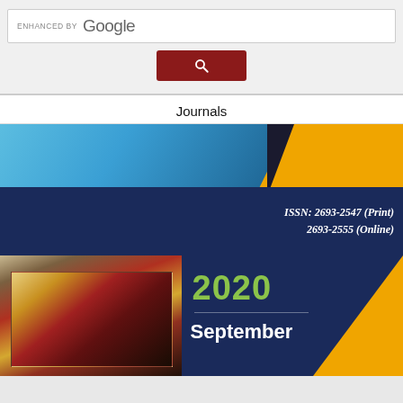[Figure (screenshot): Google Custom Search bar with 'ENHANCED BY Google' branding and a dark red search button with magnifying glass icon]
Journals
[Figure (illustration): Journal cover showing ISSN: 2693-2547 (Print) 2693-2555 (Online), year 2020, September, with blue, navy, yellow color scheme and abstract art on the left side]